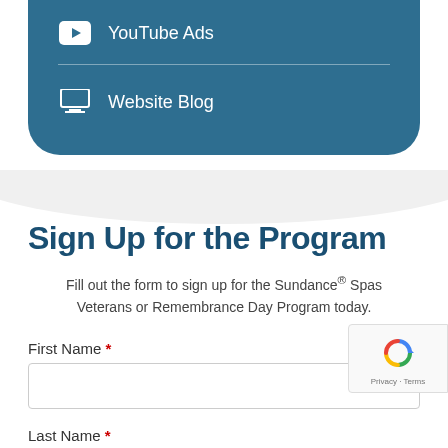YouTube Ads
Website Blog
Sign Up for the Program
Fill out the form to sign up for the Sundance® Spas Veterans or Remembrance Day Program today.
First Name *
Last Name *